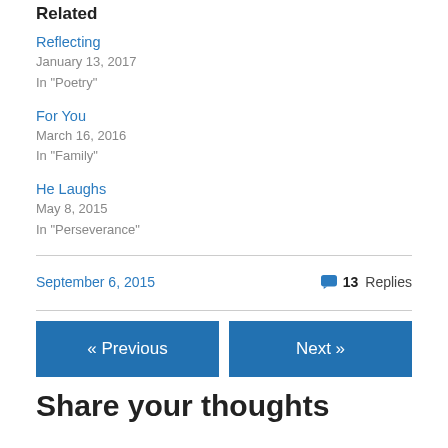Related
Reflecting
January 13, 2017
In "Poetry"
For You
March 16, 2016
In "Family"
He Laughs
May 8, 2015
In "Perseverance"
September 6, 2015    💬 13 Replies
« Previous    Next »
Share your thoughts